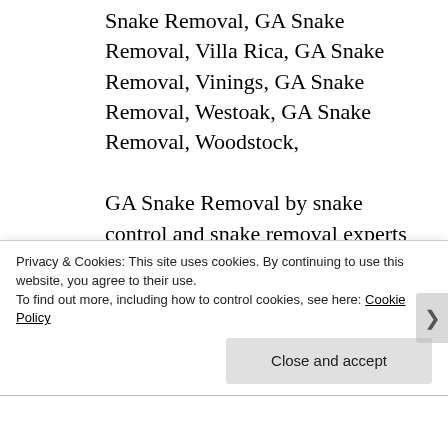Snake Removal, GA Snake Removal, Villa Rica, GA Snake Removal, Vinings, GA Snake Removal, Westoak, GA Snake Removal, Woodstock, GA Snake Removal by snake control and snake removal experts are the best avenue by far when you have a snake in the yard or even a snake in the house. Identifying
Privacy & Cookies: This site uses cookies. By continuing to use this website, you agree to their use.
To find out more, including how to control cookies, see here: Cookie Policy
Close and accept